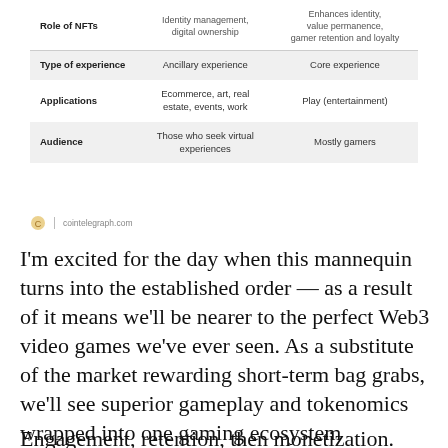|  | Identity management, digital ownership | Enhances identity, value permanence, gamer retention and loyalty |
| --- | --- | --- |
| Role of NFTs | Identity management, digital ownership | Enhances identity, value permanence, gamer retention and loyalty |
| Type of experience | Ancillary experience | Core experience |
| Applications | Ecommerce, art, real estate, events, work | Play (entertainment) |
| Audience | Those who seek virtual experiences | Mostly gamers |
cointelegraph.com
I'm excited for the day when this mannequin turns into the established order — as a result of it means we'll be nearer to the perfect Web3 video games we've ever seen. As a substitute of the market rewarding short-term bag grabs, we'll see superior gameplay and tokenomics wrapped into one gaming ecosystem constructed for the long run.
Engagement, retention, then monetization. Optimize